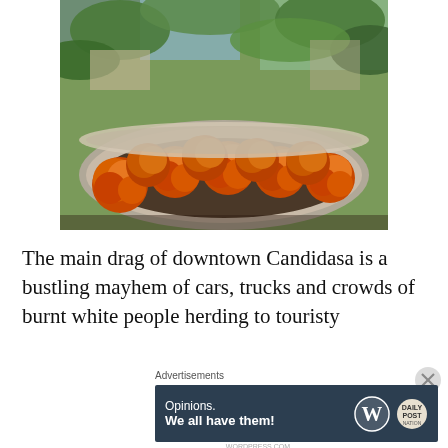[Figure (photo): Photograph of orange marigold flowers floating in a large stone or concrete basin/bowl, with tropical greenery and palm trees visible in the background.]
The main drag of downtown Candidasa is a bustling mayhem of cars, trucks and crowds of burnt white people herding to touristy
Advertisements
[Figure (other): Advertisement banner with dark background reading 'Opinions. We all have them!' with WordPress logo and another circular logo on the right.]